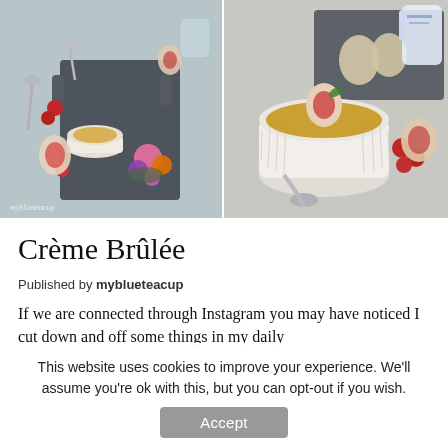[Figure (photo): Two food photography images side by side: left shows crème brûlée in a white ramekin surrounded by raspberries, figs, flowers, and spoons on a slate board from above; right shows a close-up of crème brûlée topped with a fig slice and raspberries, with eggs and a pitcher in background.]
Crème Brûlée
Published by myblueteacup
If we are connected through Instagram you may have noticed I cut down and off some things in my daily
This website uses cookies to improve your experience. We'll assume you're ok with this, but you can opt-out if you wish.
Accept